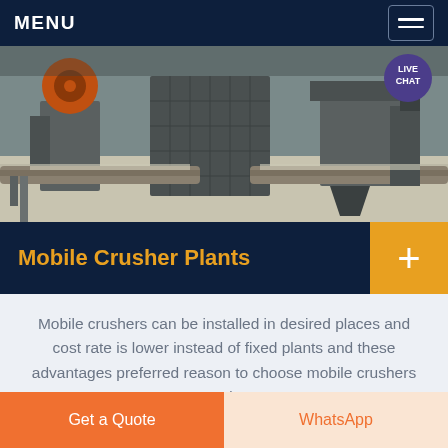MENU
[Figure (photo): Industrial mobile crusher plant machinery — large metal crushing equipment on a conveyor/track system, photographed from ground level in an industrial setting.]
Mobile Crusher Plants
Mobile crushers can be installed in desired places and cost rate is lower instead of fixed plants and these advantages preferred reason to choose mobile crushers nowadays.